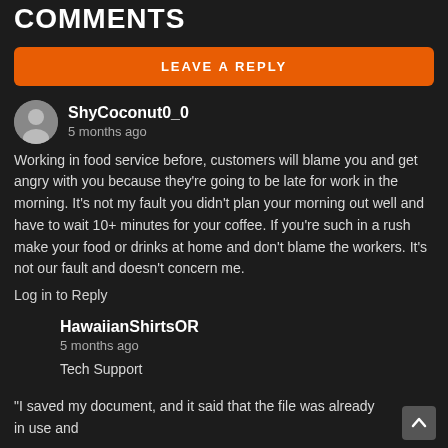COMMENTS
LEAVE A REPLY
ShyCoconut0_0
5 months ago
Working in food service before, customers will blame you and get angry with you because they're going to be late for work in the morning. It's not my fault you didn't plan your morning out well and have to wait 10+ minutes for your coffee. If you're such in a rush make your food or drinks at home and don't blame the workers. It's not our fault and doesn't concern me.
Log in to Reply
HawaiianShirtsOR
5 months ago
Tech Support
"I saved my document, and it said that the file was already in use and